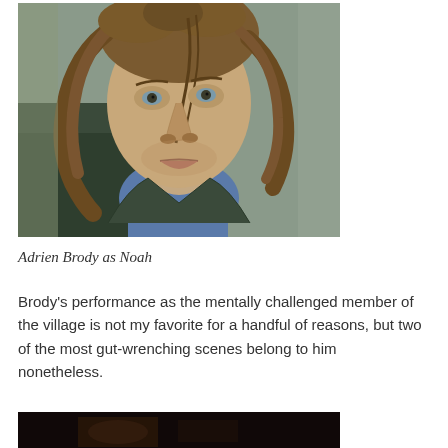[Figure (photo): Close-up portrait of Adrien Brody as Noah — a young man with long wavy brown hair, wearing a dark green jacket over a blue shirt, looking slightly downward with a neutral expression.]
Adrien Brody as Noah
Brody's performance as the mentally challenged member of the village is not my favorite for a handful of reasons, but two of the most gut-wrenching scenes belong to him nonetheless.
[Figure (photo): Dark, dimly lit scene — partial image visible at bottom of page.]